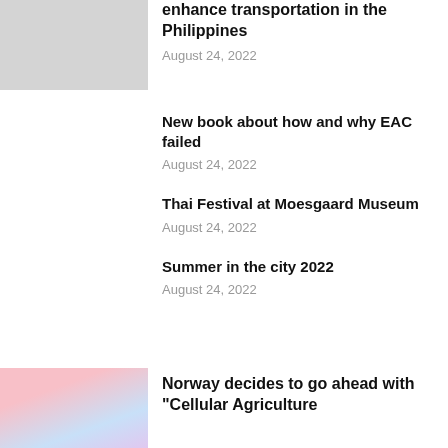enhance transportation in the Philippines
August 24, 2022
New book about how and why EAC failed
August 24, 2022
Thai Festival at Moesgaard Museum
August 24, 2022
Summer in the city 2022
August 24, 2022
Norway decides to go ahead with “Cellular Agriculture